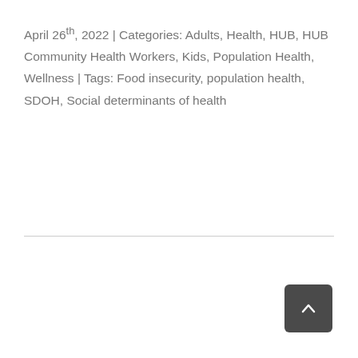April 26th, 2022 | Categories: Adults, Health, HUB, HUB Community Health Workers, Kids, Population Health, Wellness | Tags: Food insecurity, population health, SDOH, Social determinants of health